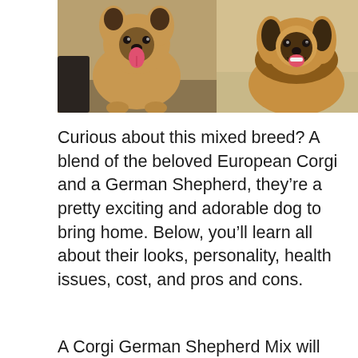[Figure (photo): Two photos side by side of Corgi German Shepherd mix dogs. Left: a golden-tan dog with large ears sitting on a floor indoors with tongue out. Right: a fluffy golden-dark dog smiling at the camera.]
Curious about this mixed breed? A blend of the beloved European Corgi and a German Shepherd, they're a pretty exciting and adorable dog to bring home. Below, you'll learn all about their looks, personality, health issues, cost, and pros and cons.
A Corgi German Shepherd Mix will